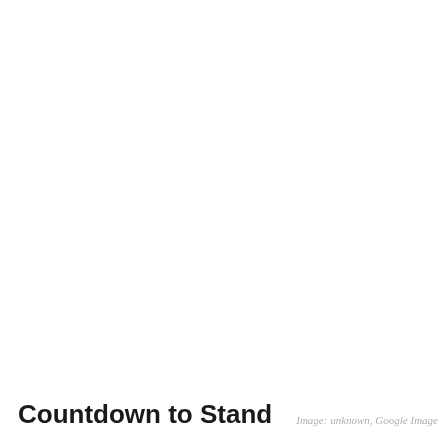Countdown to Stand
Image: unknown, Google Image